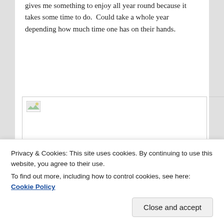gives me something to enjoy all year round because it takes some time to do.  Could take a whole year depending how much time one has on their hands.
[Figure (photo): A broken or unloaded image placeholder showing a small image icon in the top-left corner of a large empty white rectangle with a thin gray border.]
The Ideal Ghostbusters movie starts simple enough with the first Ghostbusters film.  This includes watching the film
Privacy & Cookies: This site uses cookies. By continuing to use this website, you agree to their use.
To find out more, including how to control cookies, see here: Cookie Policy